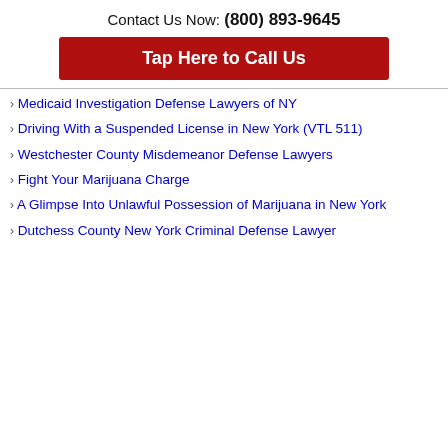Contact Us Now: (800) 893-9645
[Figure (other): Red button: Tap Here to Call Us]
Medicaid Investigation Defense Lawyers of NY
Driving With a Suspended License in New York (VTL 511)
Westchester County Misdemeanor Defense Lawyers
Fight Your Marijuana Charge
A Glimpse Into Unlawful Possession of Marijuana in New York
Dutchess County New York Criminal Defense Lawyer